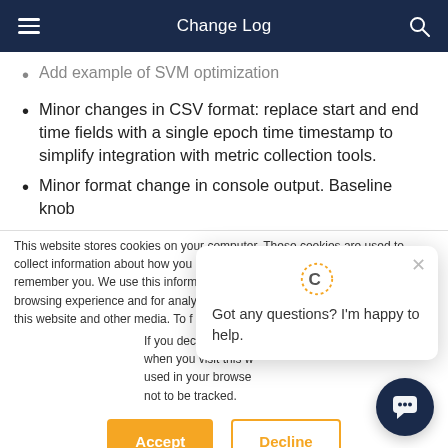Change Log
Add example of SVM optimization
Minor changes in CSV format: replace start and end time fields with a single epoch time timestamp to simplify integration with metric collection tools.
Minor format change in console output. Baseline knob
This website stores cookies on your computer. These cookies are used to collect information about how you interact with our website and allow us to remember you. We use this information in order to improve and customize your browsing experience and for analytics and metrics about our visitors both on this website and other media. To find out more about the cookies we use, see our Privacy Policy.
If you decline, your information won't be tracked when you visit this website. A single cookie will be used in your browser to remember your preference not to be tracked.
Got any questions? I'm happy to help.